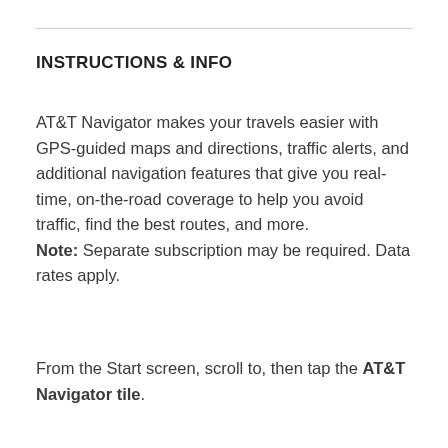INSTRUCTIONS & INFO
AT&T Navigator makes your travels easier with GPS-guided maps and directions, traffic alerts, and additional navigation features that give you real-time, on-the-road coverage to help you avoid traffic, find the best routes, and more. Note: Separate subscription may be required. Data rates apply.
From the Start screen, scroll to, then tap the AT&T Navigator tile.